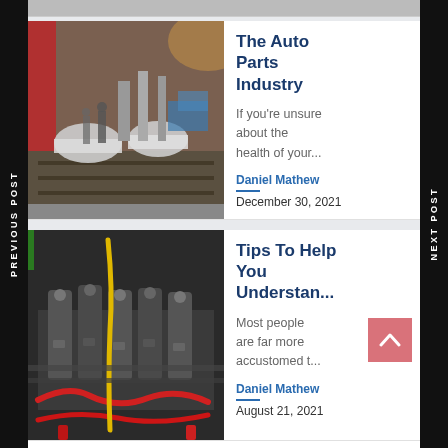[Figure (photo): Partial top image strip — automotive assembly line, cropped]
[Figure (photo): Automotive assembly line factory floor with covered car bodies and workers]
The Auto Parts Industry
If you're unsure about the health of your...
Daniel Mathew
December 30, 2021
[Figure (photo): Close-up of engine components with colored hoses — black, red, yellow]
Tips To Help You Understan...
Most people are far more accustomed t...
Daniel Mathew
August 21, 2021